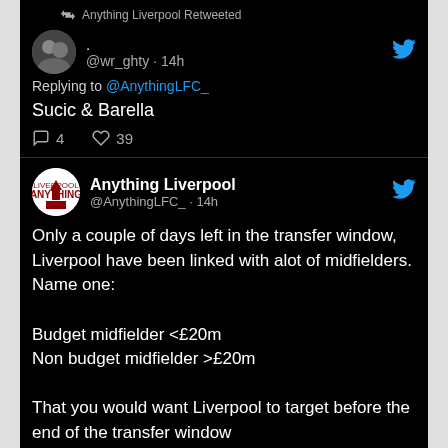Anything Liverpool Retweeted
. @wr_ghty · 14h
Replying to @AnythingLFC_
Sucic & Barella
💬 4   ♡ 39
Anything Liverpool @AnythingLFC_ · 14h
Only a couple of days left in the transfer window, Liverpool have been linked with alot of midfielders. Name one:

Budget midfielder <£20m
Non budget midfielder >£20m

That you would want Liverpool to target before the end of the transfer window
💬 43   ♡ 149